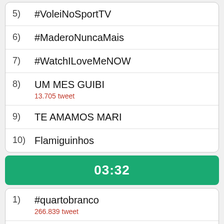5) #VoleiNoSportTV
6) #MaderoNuncaMais
7) #WatchILoveMeNOW
8) UM MES GUIBI
13.705 tweet
9) TE AMAMOS MARI
10) Flamiguinhos
03:32
1) #quartobranco
266.839 tweet
2) #MariliaMendoncaNoMultishow
16.225 tweet
3) MC L...